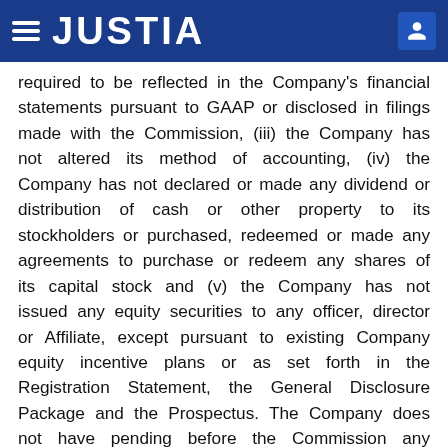JUSTIA
required to be reflected in the Company's financial statements pursuant to GAAP or disclosed in filings made with the Commission, (iii) the Company has not altered its method of accounting, (iv) the Company has not declared or made any dividend or distribution of cash or other property to its stockholders or purchased, redeemed or made any agreements to purchase or redeem any shares of its capital stock and (v) the Company has not issued any equity securities to any officer, director or Affiliate, except pursuant to existing Company equity incentive plans or as set forth in the Registration Statement, the General Disclosure Package and the Prospectus. The Company does not have pending before the Commission any request for confidential treatment of information. Except for the issuance of the Securities contemplated by this Agreement, no event, liability, fact, circumstance,